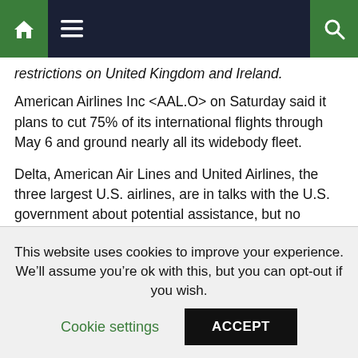Navigation bar with home icon, menu icon, search icon
restrictions on United Kingdom and Ireland.
American Airlines Inc <AAL.O> on Saturday said it plans to cut 75% of its international flights through May 6 and ground nearly all its widebody fleet.
Delta, American Air Lines and United Airlines, the three largest U.S. airlines, are in talks with the U.S. government about potential assistance, but no details have emerged.
White House economic adviser Larry Kudlow told CBS’s “Face the Nation” program the administration would discuss “a package of support” for the airlines with U.S. lawmakers
This website uses cookies to improve your experience. We’ll assume you’re ok with this, but you can opt-out if you wish.
Cookie settings   ACCEPT